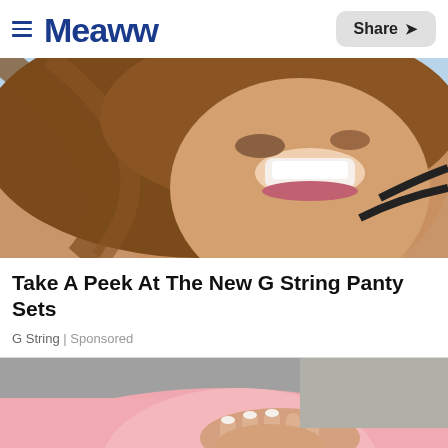≡ Meaww  Share ↗
[Figure (photo): Close-up photo of a smiling woman with long brown hair and a black bra strap visible, laughing with bright white teeth against a light blue background.]
Take A Peek At The New G String Panty Sets
G String | Sponsored
[Figure (photo): Photo of a woman in a pink long-sleeve top holding her hands on her pregnant belly against a gray background.]